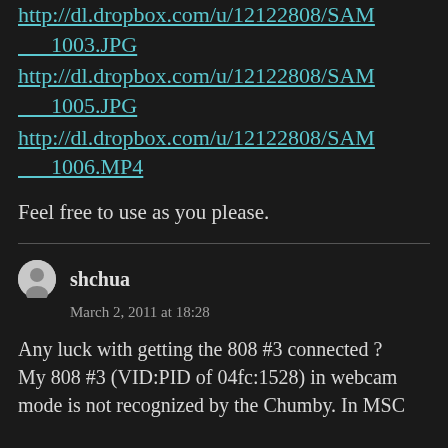http://dl.dropbox.com/u/12122808/SAM_1003.JPG
http://dl.dropbox.com/u/12122808/SAM_1005.JPG
http://dl.dropbox.com/u/12122808/SAM_1006.MP4
Feel free to use as you please.
shchua
March 2, 2011 at 18:28
Any luck with getting the 808 #3 connected ? My 808 #3 (VID:PID of 04fc:1528) in webcam mode is not recognized by the Chumby. In MSC